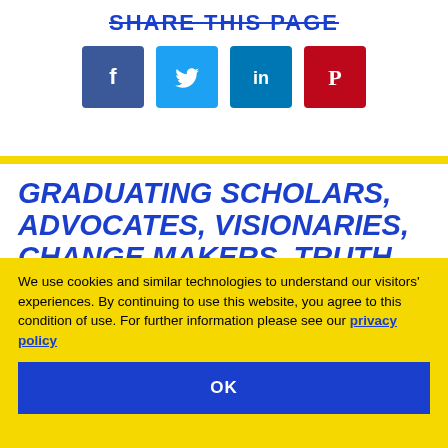SHARE THIS PAGE
[Figure (other): Social media share buttons: Facebook (blue), Twitter (light blue), LinkedIn (dark blue), Pinterest (red)]
GRADUATING SCHOLARS, ADVOCATES, VISIONARIES, CHANGE MAKERS, TRUTH
We use cookies and similar technologies to understand our visitors' experiences. By continuing to use this website, you agree to this condition of use. For further information please see our privacy policy
OK